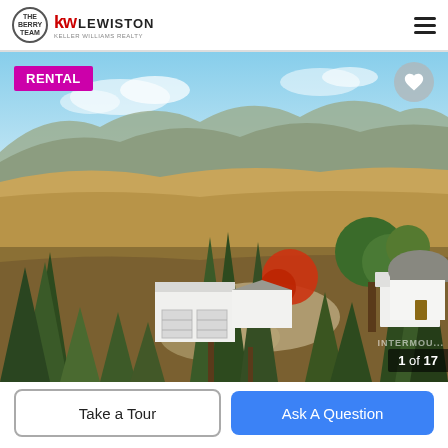The Berry Team | KW LEWISTON KELLER WILLIAMS REALTY
[Figure (photo): Aerial/elevated view of a rural residential property with white house and detached garage surrounded by pine and deciduous trees, set against rolling golden hills and mountains in background under a partly cloudy sky. Red-leafed tree visible. 1 of 17 photos.]
RENTAL
1 of 17
Take a Tour
Ask A Question